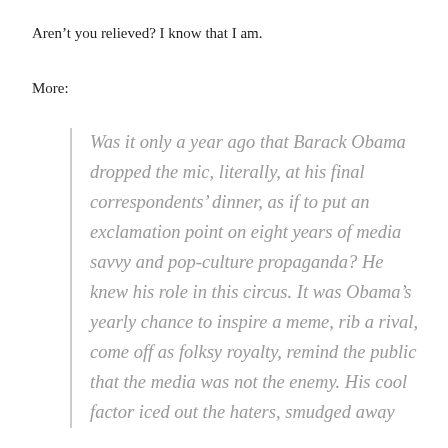Aren’t you relieved? I know that I am.
More:
Was it only a year ago that Barack Obama dropped the mic, literally, at his final correspondents’ dinner, as if to put an exclamation point on eight years of media savvy and pop-culture propaganda? He knew his role in this circus. It was Obama’s yearly chance to inspire a meme, rib a rival, come off as folksy royalty, remind the public that the media was not the enemy. His cool factor iced out the haters, smudged away